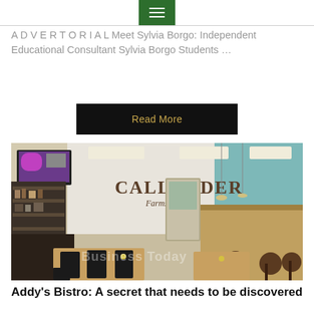≡ (hamburger menu)
A D V E R T O R I A L Meet Sylvia Borgo: Independent Educational Consultant Sylvia Borgo Students …
Read More
[Figure (photo): Interior of Callander Farms bistro/store showing dining tables with wooden tops and black metal chairs, shelving units with products, a display TV on the wall, refrigerated cases, pendant lights, and the large CALLANDER Farms logo on the white back wall. Watermark text 'Business Today' visible on lower portion.]
Addy's Bistro: A secret that needs to be discovered